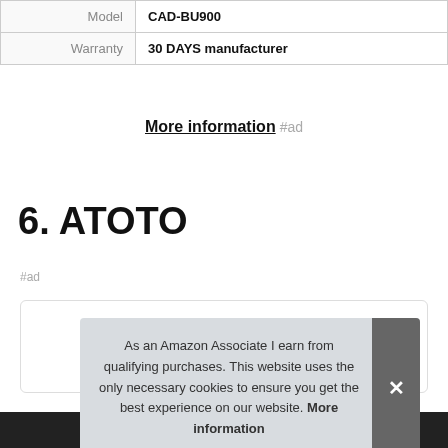| Model | CAD-BU900 |
| Warranty | 30 DAYS manufacturer |
More information #ad
6. ATOTO
#ad
[Figure (screenshot): Product image box with a cookie consent notice overlay reading: As an Amazon Associate I earn from qualifying purchases. This website uses the only necessary cookies to ensure you get the best experience on our website. More information. A close (×) button is on the right side.]
As an Amazon Associate I earn from qualifying purchases. This website uses the only necessary cookies to ensure you get the best experience on our website. More information